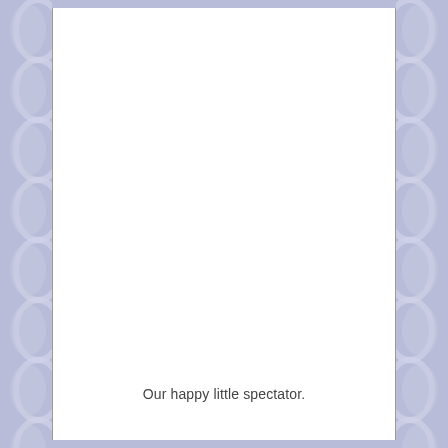[Figure (illustration): Decorative page border on left and right sides consisting of repeating oval/circle shapes in light lavender/blue-gray color on a slightly darker lavender background. The center of the page is white.]
Our happy little spectator.